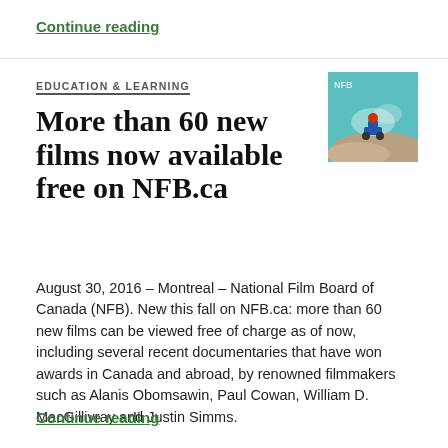Continue reading
EDUCATION & LEARNING
[Figure (photo): Thumbnail image showing a person on a motorbike in water/rapids, teal and earthy tones]
More than 60 new films now available free on NFB.ca
August 30, 2016 – Montreal – National Film Board of Canada (NFB). New this fall on NFB.ca: more than 60 new films can be viewed free of charge as of now, including several recent documentaries that have won awards in Canada and abroad, by renowned filmmakers such as Alanis Obomsawin, Paul Cowan, William D. MacGillivray and Justin Simms.
Continue reading